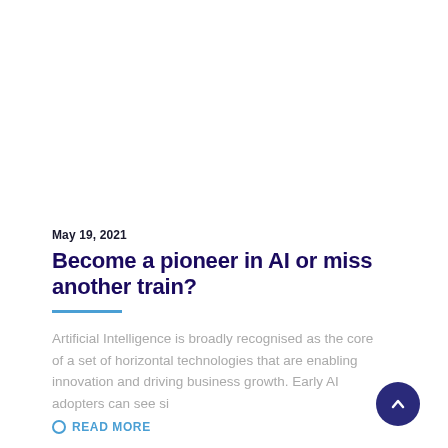May 19, 2021
Become a pioneer in AI or miss another train?
Artificial Intelligence is broadly recognised as the core of a set of horizontal technologies that are enabling innovation and driving business growth. Early AI adopters can see si
READ MORE